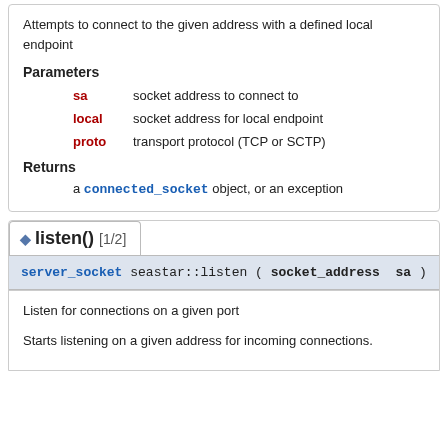Attempts to connect to the given address with a defined local endpoint
Parameters
sa  socket address to connect to
local  socket address for local endpoint
proto  transport protocol (TCP or SCTP)
Returns
a connected_socket object, or an exception
listen() [1/2]
server_socket seastar::listen ( socket_address sa )
Listen for connections on a given port
Starts listening on a given address for incoming connections.